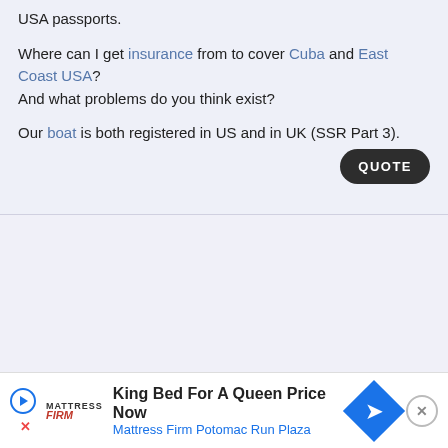USA passports.
Where can I get insurance from to cover Cuba and East Coast USA? And what problems do you think exist?
Our boat is both registered in US and in UK (SSR Part 3).
[Figure (other): QUOTE button - dark rounded rectangle button with white uppercase text]
[Figure (infographic): Advertisement bar: Mattress Firm logo, play button and X button on left. Headline: King Bed For A Queen Price Now. Subline: Mattress Firm Potomac Run Plaza. Blue diamond navigation icon on right. Close (X) circle button on far right.]